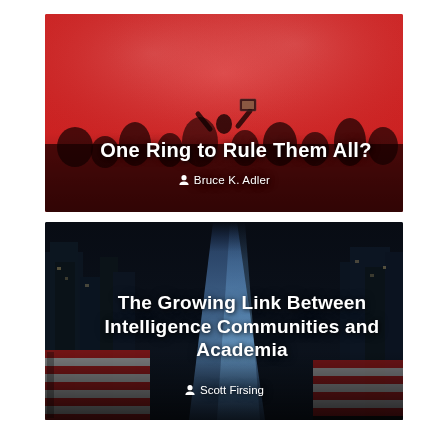[Figure (photo): Red-toned photo of a concert crowd with smoke/flares, a person holding up a phone to film, viewed from behind. White text overlay with article title and author.]
One Ring to Rule Them All?
Bruce K. Adler
[Figure (photo): Dark night-time cityscape with bright blue light beams rising between skyscrapers, foreground shows striped banners/flags. White text overlay with article title and author.]
The Growing Link Between Intelligence Communities and Academia
Scott Firsing